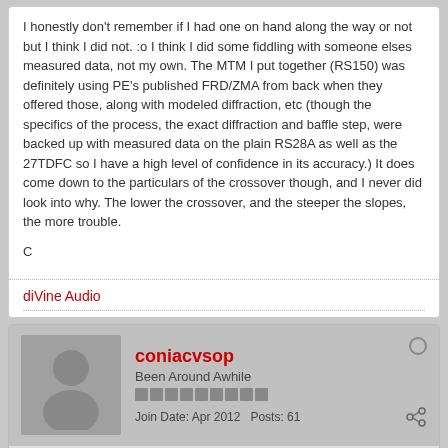I honestly don't remember if I had one on hand along the way or not but I think I did not. :o I think I did some fiddling with someone elses measured data, not my own. The MTM I put together (RS150) was definitely using PE's published FRD/ZMA from back when they offered those, along with modeled diffraction, etc (though the specifics of the process, the exact diffraction and baffle step, were backed up with measured data on the plain RS28A as well as the 27TDFC so I have a high level of confidence in its accuracy.) It does come down to the particulars of the crossover though, and I never did look into why. The lower the crossover, and the steeper the slopes, the more trouble.
C
diVine Audio
coniacvsop
Been Around Awhile
Join Date: Apr 2012   Posts: 61
04-22-2012, 04:21 AM
#98
Re: My RS180 MTM Design
I'm not sure how much action this thread is still getting but I was